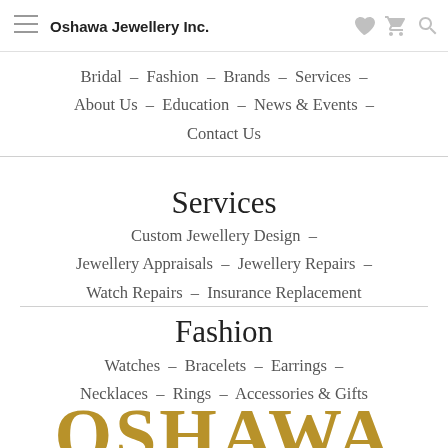Oshawa Jewellery Inc.
Bridal – Fashion – Brands – Services – About Us – Education – News & Events – Contact Us
Services
Custom Jewellery Design – Jewellery Appraisals – Jewellery Repairs – Watch Repairs – Insurance Replacement
Fashion
Watches – Bracelets – Earrings – Necklaces – Rings – Accessories & Gifts
OSHAWA